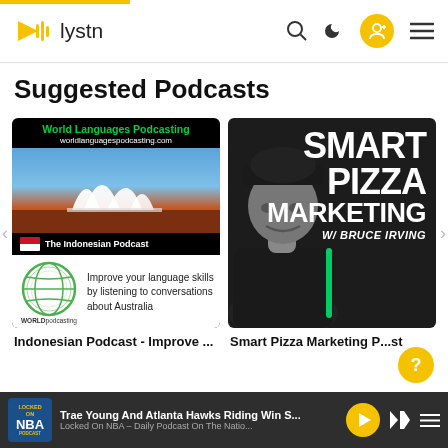[Figure (screenshot): Lystn podcast app navigation bar with logo, search, dark mode, add profile, and hamburger menu icons]
Suggested Podcasts
[Figure (screenshot): Indonesian Podcast cover art with World Languages Podcasting branding and Sydney Opera House photo]
[Figure (screenshot): Smart Pizza Marketing podcast cover with Bruce Irving photo and bold white text on dark background]
Indonesian Podcast - Improve ...
Smart Pizza Marketing P...st
[Figure (screenshot): Bottom media player bar showing Trae Young And Atlanta Hawks Riding Win S... - Locked On NBA podcast]